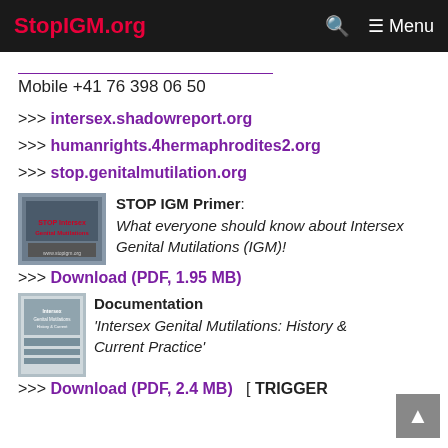StopIGM.org  🔍  ☰ Menu
Mobile +41 76 398 06 50
>>> intersex.shadowreport.org
>>> humanrights.4hermaphrodites2.org
>>> stop.genitalmutilation.org
[Figure (photo): STOP Intersex Genital Mutilations protest photo]
STOP IGM Primer: What everyone should know about Intersex Genital Mutilations (IGM)!
>>> Download (PDF, 1.95 MB)
[Figure (photo): Documentation book cover - Intersex Genital Mutilations: History & Current Practice]
Documentation
'Intersex Genital Mutilations: History & Current Practice'
>>> Download (PDF, 2.4 MB)   [ TRIGGER